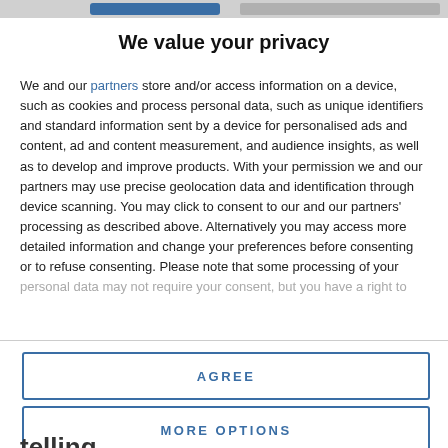We value your privacy
We and our partners store and/or access information on a device, such as cookies and process personal data, such as unique identifiers and standard information sent by a device for personalised ads and content, ad and content measurement, and audience insights, as well as to develop and improve products. With your permission we and our partners may use precise geolocation data and identification through device scanning. You may click to consent to our and our partners' processing as described above. Alternatively you may access more detailed information and change your preferences before consenting or to refuse consenting. Please note that some processing of your personal data may not require your consent, but you have a right to
AGREE
MORE OPTIONS
telling